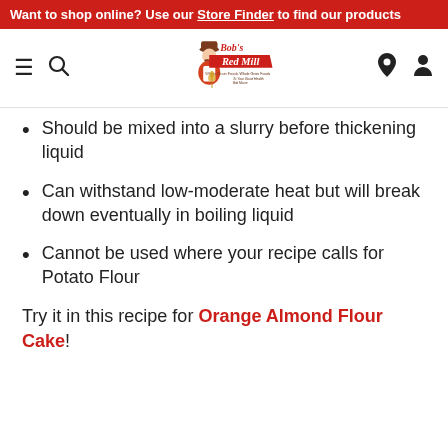Want to shop online? Use our Store Finder to find our products
[Figure (logo): Bob's Red Mill logo with illustration of Bob holding a bag of flour]
Should be mixed into a slurry before thickening liquid
Can withstand low-moderate heat but will break down eventually in boiling liquid
Cannot be used where your recipe calls for Potato Flour
Try it in this recipe for Orange Almond Flour Cake!